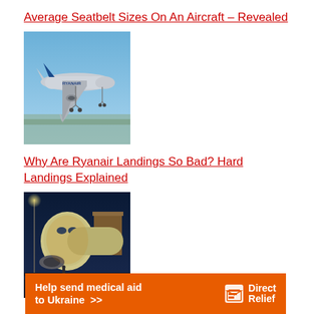Average Seatbelt Sizes On An Aircraft – Revealed
[Figure (photo): Ryanair aircraft in flight against blue sky, viewed from below-front angle, landing gear down, with fence in background]
Why Are Ryanair Landings So Bad? Hard Landings Explained
[Figure (photo): Aircraft at airport gate at night, front view showing nose and jet bridge attached, illuminated by orange/blue lighting]
[Figure (infographic): Orange advertisement banner: Help send medical aid to Ukraine >> DirectRelief logo]